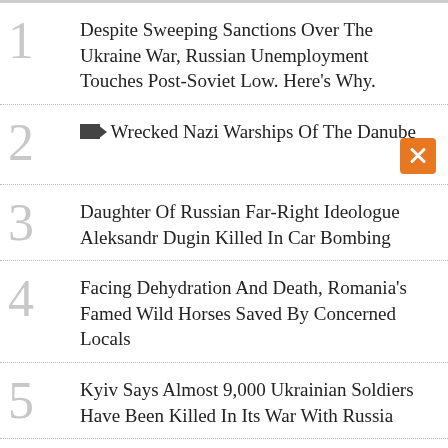1 Despite Sweeping Sanctions Over The Ukraine War, Russian Unemployment Touches Post-Soviet Low. Here's Why.
2 [video] Wrecked Nazi Warships Of The Danube
3 Daughter Of Russian Far-Right Ideologue Aleksandr Dugin Killed In Car Bombing
4 Facing Dehydration And Death, Romania's Famed Wild Horses Saved By Concerned Locals
5 Kyiv Says Almost 9,000 Ukrainian Soldiers Have Been Killed In Its War With Russia
6 [partial]